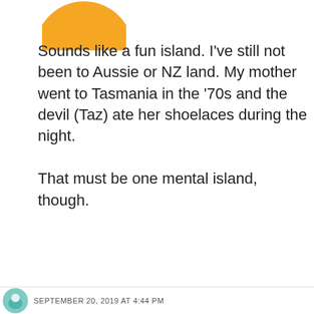[Figure (illustration): Partial yellow circle avatar at top left, cropped at top of page]
Sounds like a fun island. I've still not been to Aussie or NZ land. My mother went to Tasmania in the '70s and the devil (Taz) ate her shoelaces during the night.

That must be one mental island, though.
★ Liked by 1 person
Cookies & Privacy: This site uses cookies. By continuing to use this website, you agree to their use. To find out more, including how to control cookies, click here: Cookie Policy
Accept & Close
SEPTEMBER 20, 2019 AT 4:44 PM